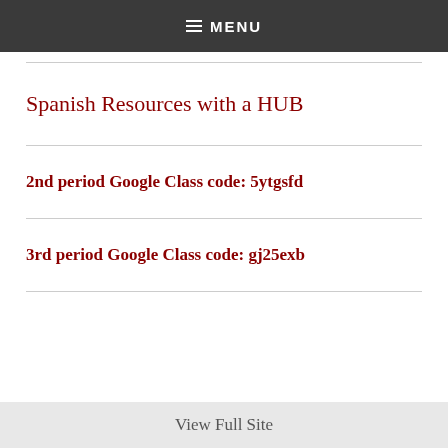≡ MENU
Spanish Resources with a HUB
2nd period Google Class code: 5ytgsfd
3rd period Google Class code: gj25exb
View Full Site